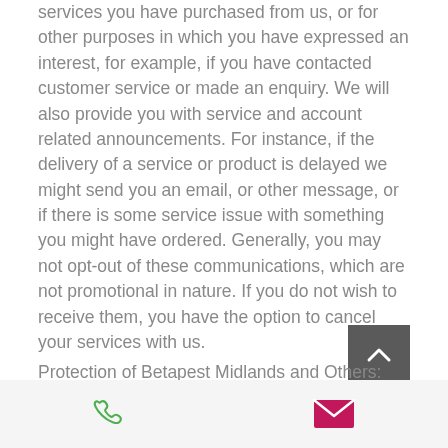services you have purchased from us, or for other purposes in which you have expressed an interest, for example, if you have contacted customer service or made an enquiry. We will also provide you with service and account related announcements. For instance, if the delivery of a service or product is delayed we might send you an email, or other message, or if there is some service issue with something you might have ordered. Generally, you may not opt-out of these communications, which are not promotional in nature. If you do not wish to receive them, you have the option to cancel your services with us.
Protection of Betapest Midlands and Others: We may release account and